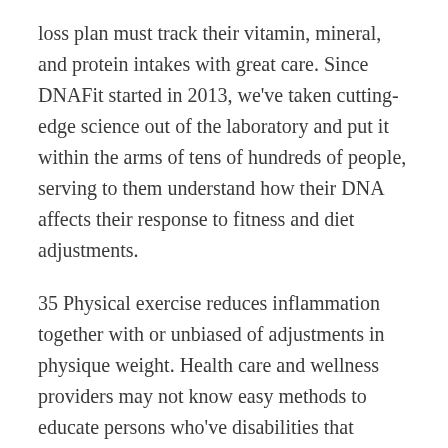loss plan must track their vitamin, mineral, and protein intakes with great care. Since DNAFit started in 2013, we've taken cutting-edge science out of the laboratory and put it within the arms of tens of hundreds of people, serving to them understand how their DNA affects their response to fitness and diet adjustments.
35 Physical exercise reduces inflammation together with or unbiased of adjustments in physique weight. Health care and wellness providers may not know easy methods to educate persons who've disabilities that compromise mobility, imaginative and prescient, sensation or cognition about how finest to carry out breast self-examinations or self-assessments for skin cancer.